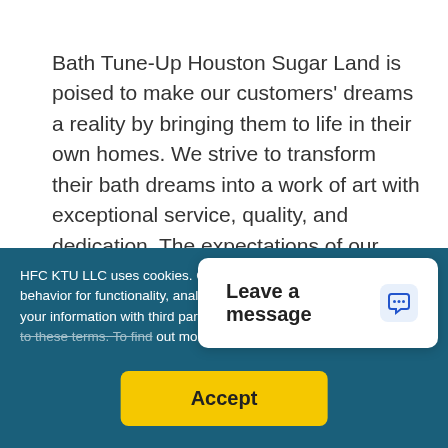Bath Tune-Up Houston Sugar Land is poised to make our customers' dreams a reality by bringing them to life in their own homes. We strive to transform their bath dreams into a work of art with exceptional service, quality, and dedication. The expectations of our clients are superseded by our expectations for ourselves. While proving every remodel does not have to be a headache or mess, we will have you wanting to remodel every area of
+ READ MORE
HFC KTU LLC uses cookies. Cookies help track user website behavior for functionality, analytics, and marketing and may share your information with third parties. By visiting this we... out more review our Privacy Po...
Leave a message
Accept